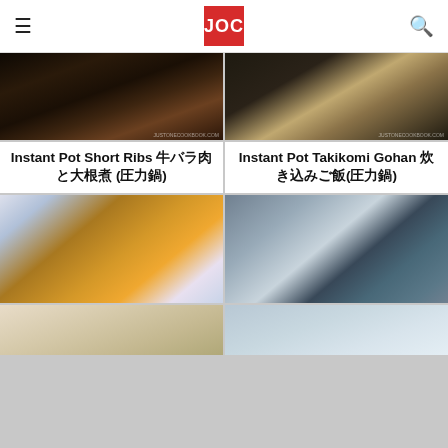JOC
[Figure (photo): Dark overhead photo of Instant Pot Short Ribs dish in a bowl]
[Figure (photo): Overhead photo of Instant Pot Takikomi Gohan with chopsticks]
Instant Pot Short Ribs 牛バラ肉と大根煮 (圧力鍋)
Instant Pot Takikomi Gohan 炊き込みご飯(圧力鍋)
[Figure (photo): Photo of Japanese curry with rice on a striped blue plate]
[Figure (photo): Photo of Japanese soup in a bowl with green onions]